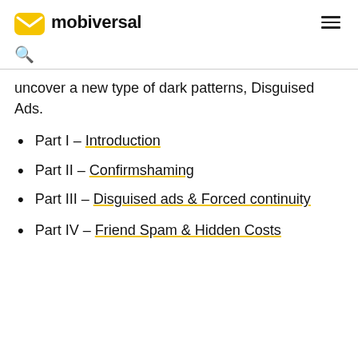mobiversal
uncover a new type of dark patterns, Disguised Ads.
Part I – Introduction
Part II – Confirmshaming
Part III – Disguised ads & Forced continuity
Part IV – Friend Spam & Hidden Costs